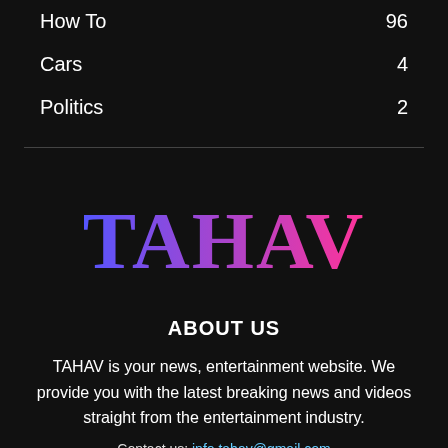How To   96
Cars   4
Politics   2
[Figure (logo): TAHAV logo in bold serif font with gradient from blue to pink]
ABOUT US
TAHAV is your news, entertainment website. We provide you with the latest breaking news and videos straight from the entertainment industry.
Contact us: info.tahav@gmail.com